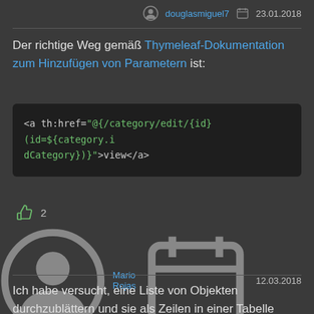douglasmiguel7   23.01.2018
Der richtige Weg gemäß Thymeleaf-Dokumentation zum Hinzufügen von Parametern ist:
2
Mario Rojas   12.03.2018
Ich habe versucht, eine Liste von Objekten durchzublättern und sie als Zeilen in einer Tabelle anzuzeigen, wobei jede Zeile ein Link ist. Das hat bei